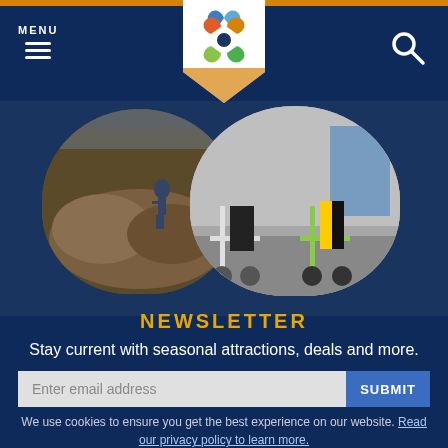MENU
[Figure (logo): Colorful pinwheel/star logo on white shield-shaped background]
[Figure (photo): Two overlapping photos: left shows a person on rocks outdoors, right shows people riding scooters on a street]
NEWSLETTER
Stay current with seasonal attractions, deals and more.
Enter email address
SUBMIT
We use cookies to ensure you get the best experience on our website. Read our privacy policy to learn more.
I Agree